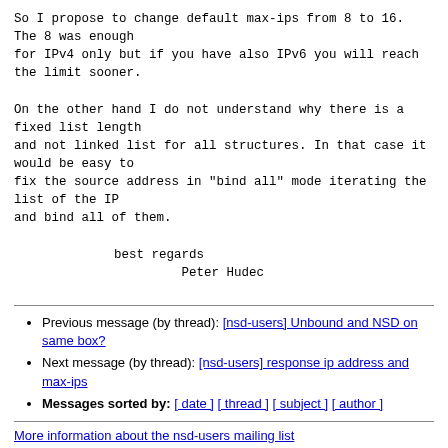So I propose to change default max-ips from 8 to 16.
The 8 was enough
for IPv4 only but if you have also IPv6 you will reach
the limit sooner.

On the other hand I do not understand why there is a
fixed list length
and not linked list for all structures. In that case it
would be easy to
fix the source address in "bind all" mode iterating the
list of the IP
and bind all of them.
best regards
         Peter Hudec
Previous message (by thread): [nsd-users] Unbound and NSD on same box?
Next message (by thread): [nsd-users] response ip address and max-ips
Messages sorted by: [ date ] [ thread ] [ subject ] [ author ]
More information about the nsd-users mailing list